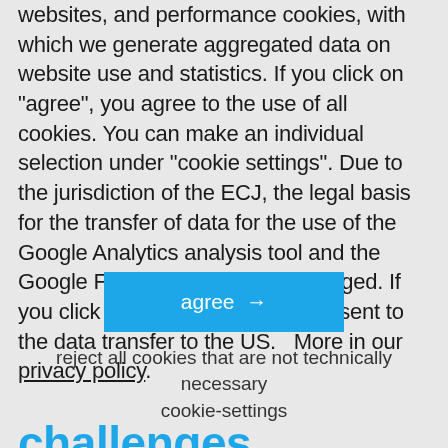cookies, which are mandatory for the use of our websites, and performance cookies, with which we generate aggregated data on website use and statistics. If you click on "agree", you agree to the use of all cookies. You can make an individual selection under "cookie settings". Due to the jurisdiction of the ECJ, the legal basis for the transfer of data for the use of the Google Analytics analysis tool and the Google Fonts directory have changed. If you click on "agree", you also consent to the data transfer to the US.   More in our privacy policy.
agree →
reject all cookies that are not technically necessary
cookie-settings
challenges